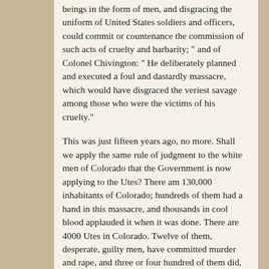beings in the form of men, and disgracing the uniform of United States soldiers and officers, could commit or countenance the commission of such acts of cruelty and barbarity; " and of Colonel Chivington: " He deliberately planned and executed a foul and dastardly massacre, which would have disgraced the veriest savage among those who were the victims of his cruelty."
This was just fifteen years ago, no more. Shall we apply the same rule of judgment to the white men of Colorado that the Government is now applying to the Utes? There am 130,000 inhabitants of Colorado; hundreds of them had a hand in this massacre, and thousands in cool blood applauded it when it was done. There are 4000 Utes in Colorado. Twelve of them, desperate, guilty men, have committed murder and rape, and three or four hundred of them did, in the convenient phrase of our diplomacy, " go to war against the Government; "they attempted, by force of arms, to restrain the entrance upon their